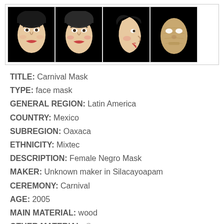[Figure (photo): Four thumbnail photographs of carnival masks displayed in a row against black backgrounds. The first three show painted female face masks with dark hair and red lips viewed from different angles (front, front, profile). The fourth shows an unpainted wooden mask with holes for eyes.]
TITLE: Carnival Mask
TYPE: face mask
GENERAL REGION: Latin America
COUNTRY: Mexico
SUBREGION: Oaxaca
ETHNICITY: Mixtec
DESCRIPTION: Female Negro Mask
MAKER: Unknown maker in Silacayoapam
CEREMONY: Carnival
AGE: 2005
MAIN MATERIAL: wood
OTHER MATERIAL: (partially visible)